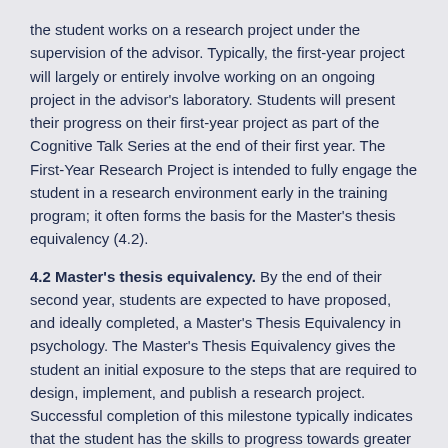the student works on a research project under the supervision of the advisor. Typically, the first-year project will largely or entirely involve working on an ongoing project in the advisor's laboratory. Students will present their progress on their first-year project as part of the Cognitive Talk Series at the end of their first year. The First-Year Research Project is intended to fully engage the student in a research environment early in the training program; it often forms the basis for the Master's thesis equivalency (4.2).
4.2 Master's thesis equivalency. By the end of their second year, students are expected to have proposed, and ideally completed, a Master's Thesis Equivalency in psychology. The Master's Thesis Equivalency gives the student an initial exposure to the steps that are required to design, implement, and publish a research project. Successful completion of this milestone typically indicates that the student has the skills to progress towards greater research independence.
4.2.1 Master's thesis proposal. Typically during the first year, the student obtains approval from their advisor to